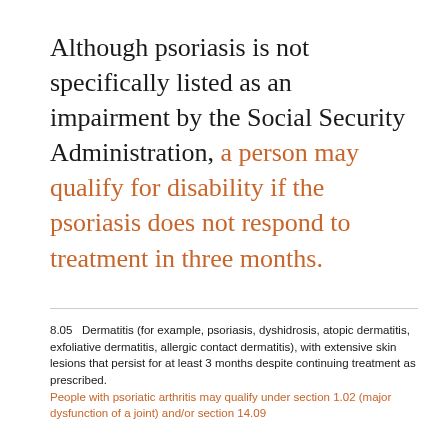Although psoriasis is not specifically listed as an impairment by the Social Security Administration, a person may qualify for disability if the psoriasis does not respond to treatment in three months.
8.05  Dermatitis (for example, psoriasis, dyshidrosis, atopic dermatitis, exfoliative dermatitis, allergic contact dermatitis), with extensive skin lesions that persist for at least 3 months despite continuing treatment as prescribed. People with psoriatic arthritis may qualify under section 1.02 (major dysfunction of a joint) and/or section 14.09